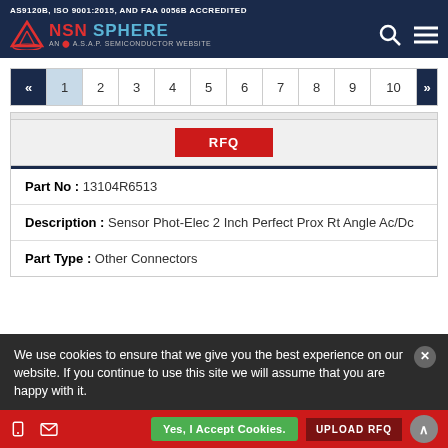AS9120B, ISO 9001:2015, AND FAA 0056B ACCREDITED
[Figure (logo): NSN Sphere logo - AN A.S.A.P. Semiconductor Website]
« 1 2 3 4 5 6 7 8 9 10 »
RFQ
| Field | Value |
| --- | --- |
| Part No : | 13104R6513 |
| Description : | Sensor Phot-Elec 2 Inch Perfect Prox Rt Angle Ac/Dc |
| Part Type : | Other Connectors |
We use cookies to ensure that we give you the best experience on our website. If you continue to use this site we will assume that you are happy with it.
Yes, I Accept Cookies.
UPLOAD RFQ